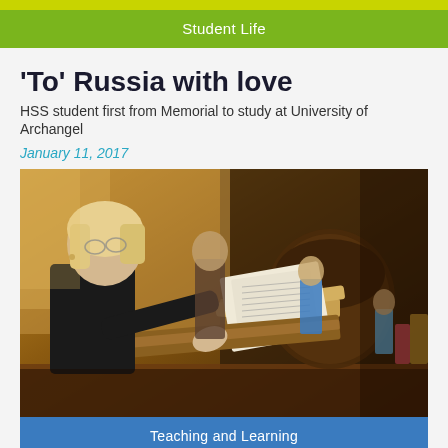Student Life
'To' Russia with love
HSS student first from Memorial to study at University of Archangel
January 11, 2017
[Figure (photo): A woman in black playing a percussion instrument (dulcimer or similar) while reading sheet music on a stand, with children and other people visible in the background in what appears to be a music classroom or performance hall.]
Teaching and Learning